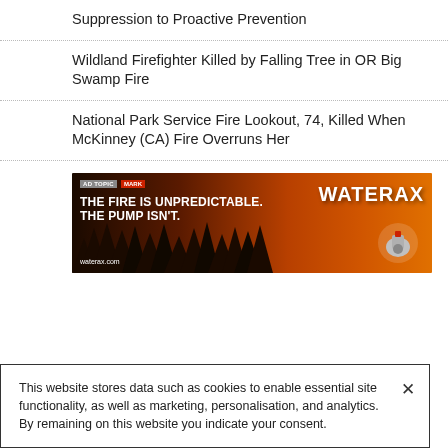Suppression to Proactive Prevention
Wildland Firefighter Killed by Falling Tree in OR Big Swamp Fire
National Park Service Fire Lookout, 74, Killed When McKinney (CA) Fire Overruns Her
[Figure (photo): Waterax advertisement banner showing a wildfire scene with trees silhouetted against an orange/red sky. Text reads: THE FIRE IS UNPREDICTABLE. THE PUMP ISN'T. waterax.com. WATERAX logo at top right with pump equipment image.]
This website stores data such as cookies to enable essential site functionality, as well as marketing, personalisation, and analytics. By remaining on this website you indicate your consent.